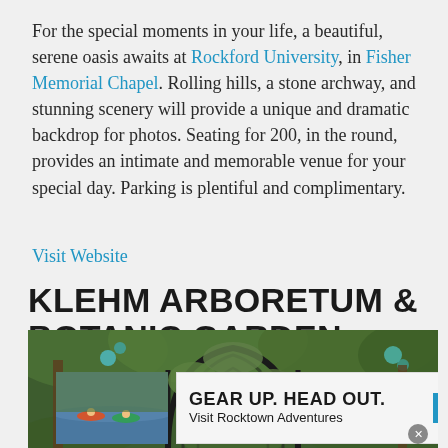For the special moments in your life, a beautiful, serene oasis awaits at Rockford University, in Fisher Memorial Chapel. Rolling hills, a stone archway, and stunning scenery will provide a unique and dramatic backdrop for photos. Seating for 200, in the round, provides an intimate and memorable venue for your special day. Parking is plentiful and complimentary.
Visit Website
KLEHM ARBORETUM & BOTANIC GARDEN
[Figure (photo): Photo of a couple standing beneath an arched metal garden structure covered in vines, surrounded by lush green foliage at Klehm Arboretum & Botanic Garden. An advertisement overlay reads GEAR UP. HEAD OUT. Visit Rocktown Adventures with a blue 'more' button.]